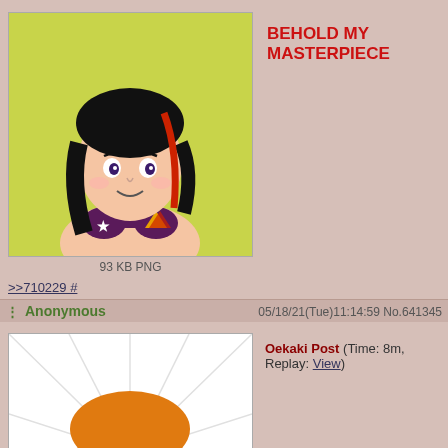[Figure (illustration): Anime-style girl with dark hair and red streaks wearing a bikini top, on yellow-green background. File info: 93 KB PNG]
BEHOLD MY MASTERPIECE
>>710229 #
Anonymous  05/18/21(Tue)11:14:59 No.641345
[Figure (illustration): Anime-style orange-haired boy with expressive eyes wearing a green shirt, on white background with light rays. File info: 14 KB PNG]
Oekaki Post (Time: 8m, Replay: View)
Anonymous  05/18/21(Tue)11:31:09 No.641346
[Figure (illustration): Crude sketch of a face with light blue lines on white background, troll-like expression]
Oekaki Post (Time: 2m, Replay: View)